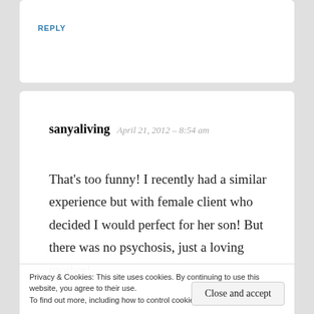REPLY
sanyaliving  April 21, 2012 – 8:54 am
That's too funny! I recently had a similar experience but with female client who decided I would perfect for her son! But there was no psychosis, just a loving mother!
Privacy & Cookies: This site uses cookies. By continuing to use this website, you agree to their use.
To find out more, including how to control cookies, see here: Cookie Policy
Close and accept